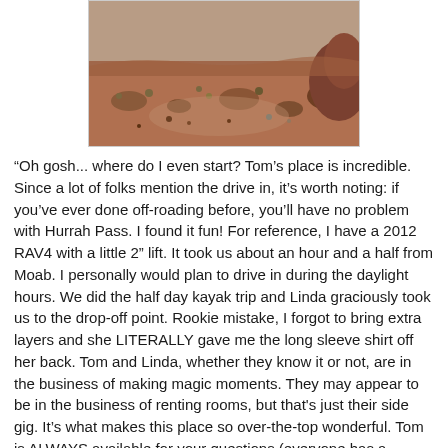[Figure (photo): Outdoor desert landscape photo showing reddish-brown rocky terrain with sparse dry vegetation and large red rocks in the background.]
“Oh gosh... where do I even start? Tom’s place is incredible. Since a lot of folks mention the drive in, it’s worth noting: if you’ve ever done off-roading before, you’ll have no problem with Hurrah Pass. I found it fun! For reference, I have a 2012 RAV4 with a little 2” lift. It took us about an hour and a half from Moab. I personally would plan to drive in during the daylight hours. We did the half day kayak trip and Linda graciously took us to the drop-off point. Rookie mistake, I forgot to bring extra layers and she LITERALLY gave me the long sleeve shirt off her back. Tom and Linda, whether they know it or not, are in the business of making magic moments. They may appear to be in the business of renting rooms, but that’s just their side gig. It’s what makes this place so over-the-top wonderful. Tom is ALWAYS available for your questions (everyone has a walkie-talkie) and is willing to get up at o-dark-thirty to get you off on your adventures for the day. His humor is second to none (so long